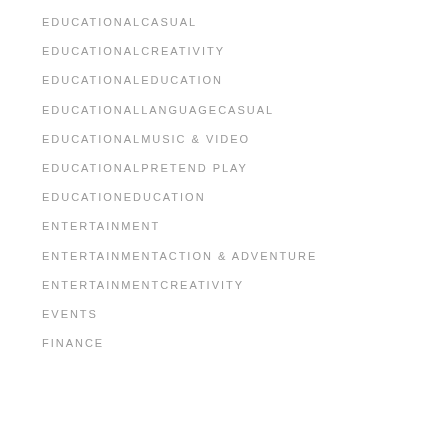EDUCATIONALCASUAL
EDUCATIONALCREATIVITY
EDUCATIONALEDUCATION
EDUCATIONALLANGUAGECASUAL
EDUCATIONALMUSIC & VIDEO
EDUCATIONALPRETEND PLAY
EDUCATIONEDUCATION
ENTERTAINMENT
ENTERTAINMENTACTION & ADVENTURE
ENTERTAINMENTCREATIVITY
EVENTS
FINANCE